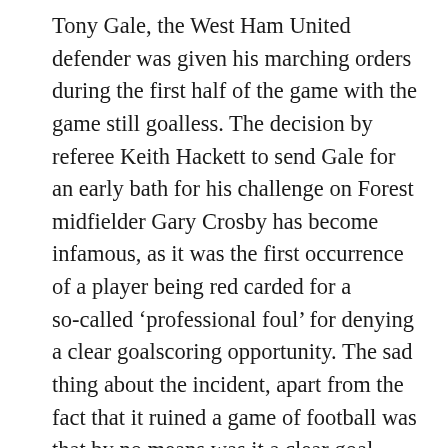Tony Gale, the West Ham United defender was given his marching orders during the first half of the game with the game still goalless. The decision by referee Keith Hackett to send Gale for an early bath for his challenge on Forest midfielder Gary Crosby has become infamous, as it was the first occurrence of a player being red carded for a so-called ‘professional foul’ for denying a clear goalscoring opportunity. The sad thing about the incident, apart from the fact that it ruined a game of football was that by no means was it a clear goal scoring opportunity. Far from it. In retrospect Keith Hackett regretted his decision to send Gale off, and both have said that if it happened today VAR would immediately have overturned it.